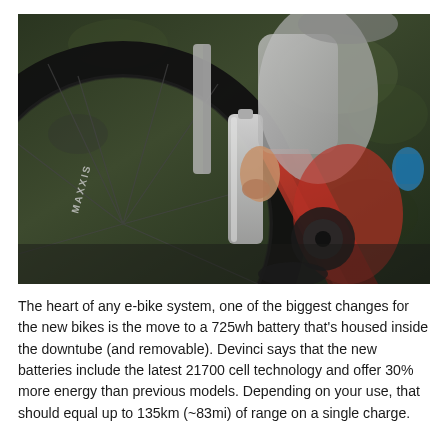[Figure (photo): Close-up photo of a person removing or inserting a silver/grey battery into the downtube of a red e-bike frame. A large Maxxis tire and Fox fork are visible on the left. The background is a blurred forest scene. The rider wears a grey long-sleeve jersey and red shorts.]
The heart of any e-bike system, one of the biggest changes for the new bikes is the move to a 725wh battery that's housed inside the downtube (and removable). Devinci says that the new batteries include the latest 21700 cell technology and offer 30% more energy than previous models. Depending on your use, that should equal up to 135km (~83mi) of range on a single charge.